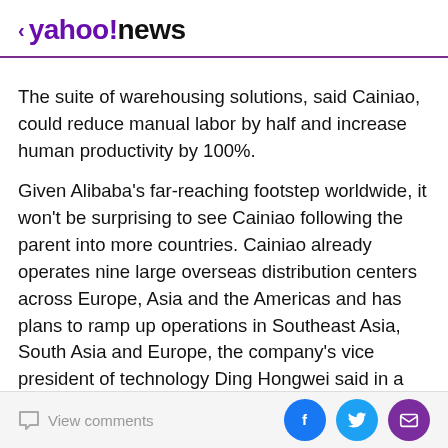< yahoo!news
The suite of warehousing solutions, said Cainiao, could reduce manual labor by half and increase human productivity by 100%.
Given Alibaba's far-reaching footstep worldwide, it won't be surprising to see Cainiao following the parent into more countries. Cainiao already operates nine large overseas distribution centers across Europe, Asia and the Americas and has plans to ramp up operations in Southeast Asia, South Asia and Europe, the company's vice president of technology Ding Hongwei said in a statement.
Integrating Cainiao into Alibaba's sprawling e-commerce
View comments